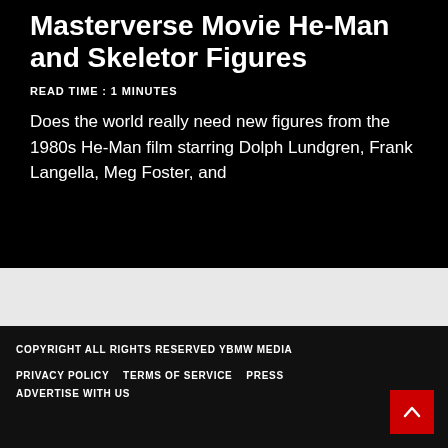Masterverse Movie He-Man and Skeletor Figures
READ TIME : 1 MINUTES
Does the world really need new figures from the 1980s He-Man film starring Dolph Lundgren, Frank Langella, Meg Foster, and
COPYRIGHT ALL RIGHTS RESERVED YBMW MEDIA
PRIVACY POLICY   TERMS OF SERVICE   PRESS
ADVERTISE WITH US